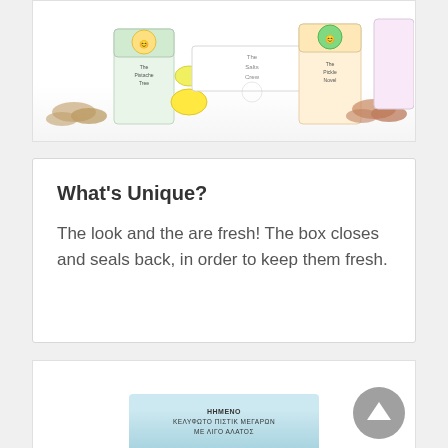[Figure (photo): Product packaging photo showing multiple snack boxes with cartoon characters, lemons, and nuts/pistachios arranged on a white background]
What's Unique?
The look and the are fresh! The box closes and seals back, in order to keep them fresh.
[Figure (photo): Product packaging photo showing a light blue box with Greek text reading ΗΜΕΝΟ ΚΕΛΥΦΩΤΟ ΠΙΣΤΙΚ ΜΕΓΑΡΩΝ ΜΕ ΛΗΠΟ ΑΛΑΤΟΣ]